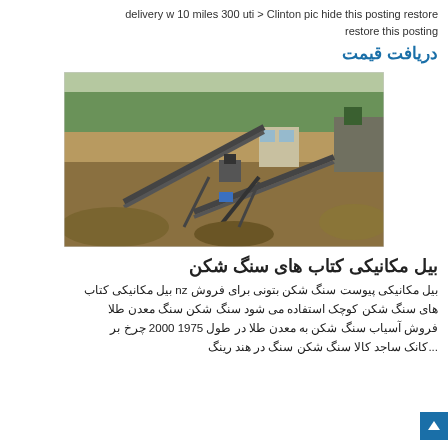delivery w 10 miles 300 uti > Clinton pic hide this posting restore restore this posting
دریافت قیمت
[Figure (photo): Outdoor industrial stone crushing facility with conveyor belts, machinery, and piles of gravel/crushed stone, surrounded by trees and open land.]
بیل مکانیکی کتاب های سنگ شکن
بیل مکانیکی پیوست سنگ شکن بتونی برای فروش nz بیل مکانیکی کتاب های سنگ شکن کوچک استفاده می شود سنگ شکن سنگ معدن طلا فروش آسیاب سنگ شکن به معدن طلا در طول 1975 2000 چرخ بر ...کانک ساجد کالا سنگ شکن سنگ در هند رینگ